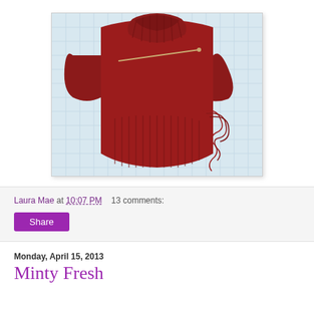[Figure (photo): A dark red knitted sweater laid flat on a blue grid cutting mat. The sweater has a turtleneck collar and wide short sleeves. A knitting needle is threaded through the neckline area and loose red yarn is tangled on the right side.]
Laura Mae at 10:07 PM   13 comments:
Share
Monday, April 15, 2013
Minty Fresh